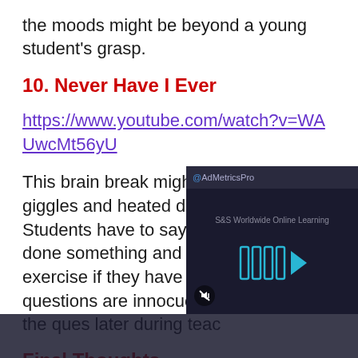the moods might be beyond a young student's grasp.
10. Never Have I Ever
https://www.youtube.com/watch?v=WAUwcMt56yU
This brain break might cause some giggles and heated discussions! Students have to say if they have ever done something and get a different exercise if they have or have not. The questions are innocuous, and y... some of the ques... later during teac...
Final Thoughts
Most brain brea...
[Figure (screenshot): Video overlay showing AdMetricsPro branding with S&S Worldwide Online Learning text and play button arrows on dark background]